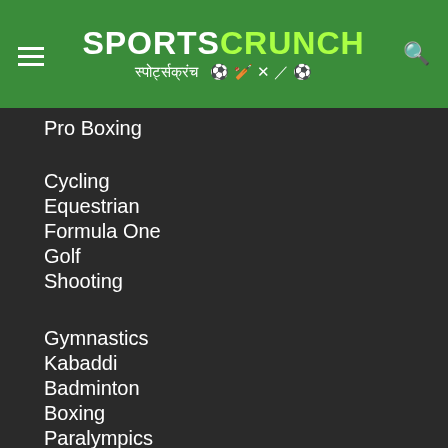SPORTS CRUNCH स्पोर्ट्सक्रंच
Pro Boxing
Cycling
Equestrian
Formula One
Golf
Shooting
Gymnastics
Kabaddi
Badminton
Boxing
Paralympics
Swimming
USEFUL LINKS
Privacy Policy
Terms Of Service